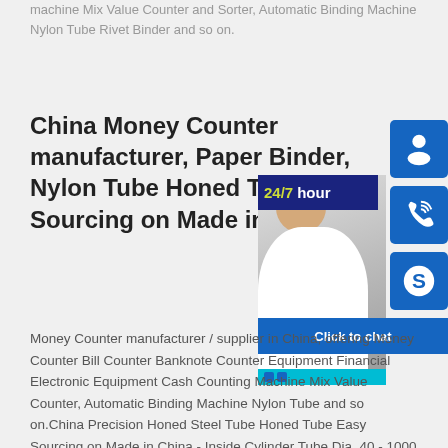machine Mix Value Counter and Sorter, Automatic Binding Machine Nylon Tube Rivet Binder and so on.
China Money Counter manufacturer, Paper Binder, Nylon Tube Honed Tube Easy Sourcing on Made in China
[Figure (screenshot): Customer service chat widget showing a 24/7 hour banner, a photo of a customer support representative, and three blue icon buttons (headset/profile, phone, Skype) with a 'Click to chat' button at the bottom.]
Money Counter manufacturer / supplier in China, offering Money Counter Bill Counter Banknote Counter Equipment Financial Electronic Equipment Cash Counting Machine Mix Value Counter, Automatic Binding Machine Nylon Tube and so on.China Precision Honed Steel Tube Honed Tube Easy Sourcing on Made in China - Inside Cylinder Tube Dia. 40 - 1000 mm (1.5 - 40 inch) Liner material copper (prolongs the life cycle of cylinder) Hydraulic cylinder tube material Carbon steel, Alloy steel, Stainless steel Piston Rod Dia:12 - 500 mm (1/2 - 20 inch) Hydraulic Cylinder Piston Rod should be hard